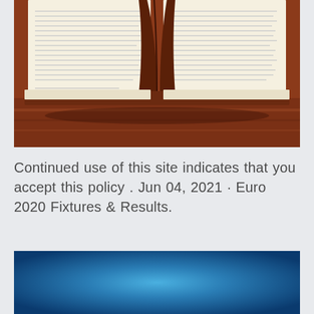[Figure (photo): An open book photographed from a low angle showing the pages fanned open, lying on a wooden surface. The pages are yellowed/cream colored and the book has a dark brown cover.]
Continued use of this site indicates that you accept this policy . Jun 04, 2021 · Euro 2020 Fixtures & Results.
[Figure (photo): A blue gradient background image, transitioning from lighter blue in the center to darker blue at the edges.]